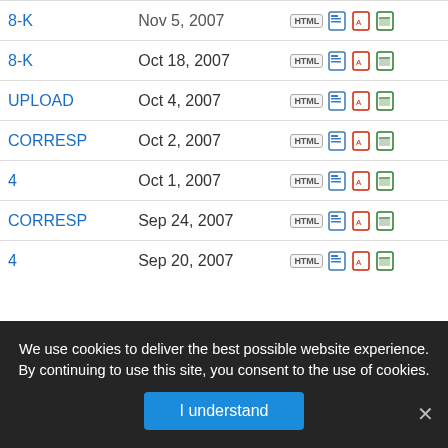| Type | Date | Formats |
| --- | --- | --- |
| 8-K | Nov 5, 2007 | HTML DOC PDF XLS |
| 8-K | Oct 18, 2007 | HTML DOC PDF XLS |
| UPLOAD | Oct 4, 2007 | HTML DOC PDF XLS |
| CORRESP | Oct 2, 2007 | HTML DOC PDF XLS |
| 4 | Oct 1, 2007 | HTML DOC PDF XLS |
| CORRESP | Sep 24, 2007 | HTML DOC PDF XLS |
| 4 | Sep 20, 2007 | HTML DOC PDF XLS |
| UPLOAD | Sep 13, 2007 | HTML DOC PDF XLS |
| SC 13G | Sep 7, 2007 | HTML DOC PDF XLS |
| 4 | Sep 4, 2007 | HTML DOC PDF XLS |
| 10-Q | Aug 9, 2007 | HTML DOC PDF XLS |
| 8 | Aug 8, 2007 | HTML DOC PDF XLS |
We use cookies to deliver the best possible website experience. By continuing to use this site, you consent to the use of cookies.